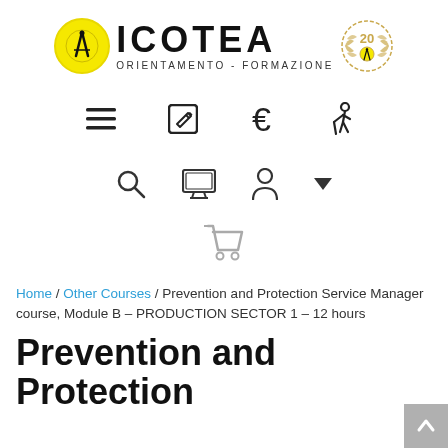[Figure (logo): ICOTEA logo with yellow compass circle, bold ICOTEA text, subtitle ORIENTAMENTO - FORMAZIONE, and a 20th anniversary badge]
[Figure (infographic): Navigation icons row: hamburger menu, edit/pencil icon, euro sign, accessibility (person with cane) icon]
[Figure (infographic): Secondary navigation icons row: search magnifier, monitor/desktop, user/person icon, dropdown arrow]
[Figure (infographic): Shopping cart icon]
Home / Other Courses / Prevention and Protection Service Manager course, Module B – PRODUCTION SECTOR 1 – 12 hours
Prevention and Protection